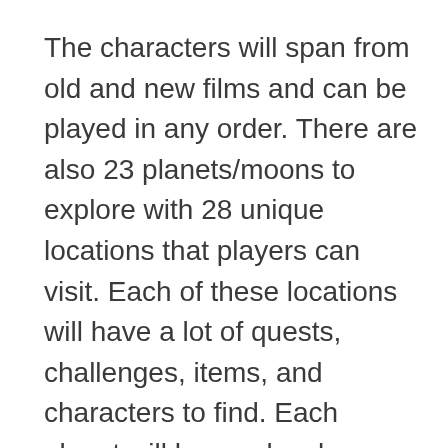The characters will span from old and new films and can be played in any order. There are also 23 planets/moons to explore with 28 unique locations that players can visit. Each of these locations will have a lot of quests, challenges, items, and characters to find. Each planet will have a local space where they can take advantage of the many ships that can be unlocked to get in dogfights and defeat capital ships. When they get boarded, they can explore those too.
Lego Star Wars: The Skywalker Saga to launch within this year for PC, Xbox One, Xbox Series X/S, PlayStation 4, PS5, and Nintendo